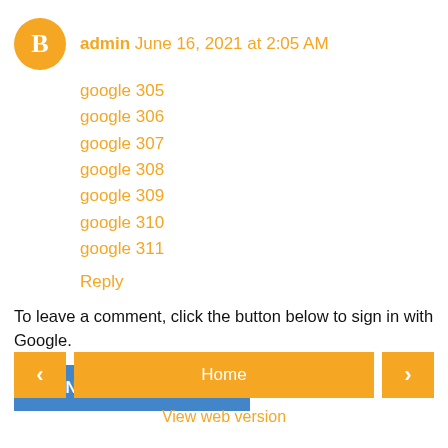admin June 16, 2021 at 2:05 AM
google 305
google 306
google 307
google 308
google 309
google 310
google 311
Reply
To leave a comment, click the button below to sign in with Google.
SIGN IN WITH GOOGLE
Home
View web version